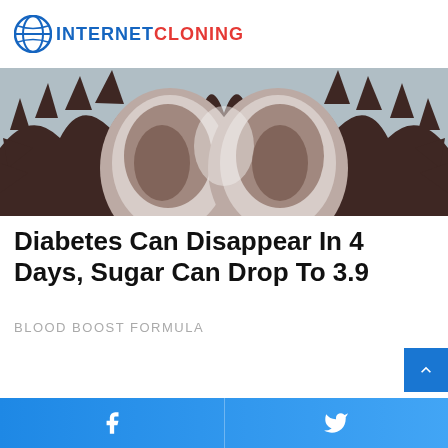INTERNET CLONING
[Figure (photo): Close-up photo of a durian fruit cut open, showing its spiky shell and pale yellowish flesh/seed interior on a wooden surface]
Diabetes Can Disappear In 4 Days, Sugar Can Drop To 3.9
BLOOD BOOST FORMULA
Facebook share | Twitter share